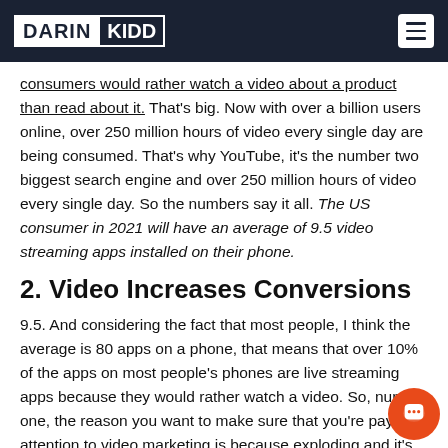DARIN KIDD
consumers would rather watch a video about a product than read about it. That's big. Now with over a billion users online, over 250 million hours of video every single day are being consumed. That's why YouTube, it's the number two biggest search engine and over 250 million hours of video every single day. So the numbers say it all. The US consumer in 2021 will have an average of 9.5 video streaming apps installed on their phone.
2. Video Increases Conversions
9.5. And considering the fact that most people, I think the average is 80 apps on a phone, that means that over 10% of the apps on most people's phones are live streaming apps because they would rather watch a video. So, number one, the reason you want to make sure that you're paying attention to video marketing is because exploding and it's only going to grow faster and it's what